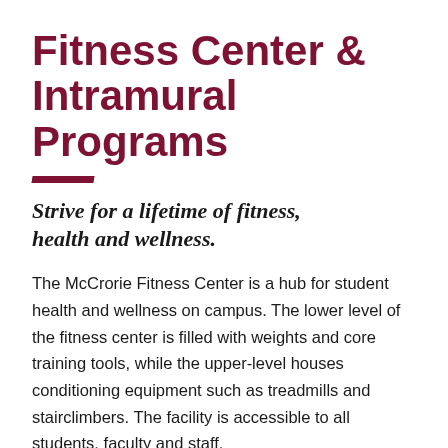Fitness Center & Intramural Programs
Strive for a lifetime of fitness, health and wellness.
The McCrorie Fitness Center is a hub for student health and wellness on campus. The lower level of the fitness center is filled with weights and core training tools, while the upper-level houses conditioning equipment such as treadmills and stairclimbers. The facility is accessible to all students, faculty and staff.